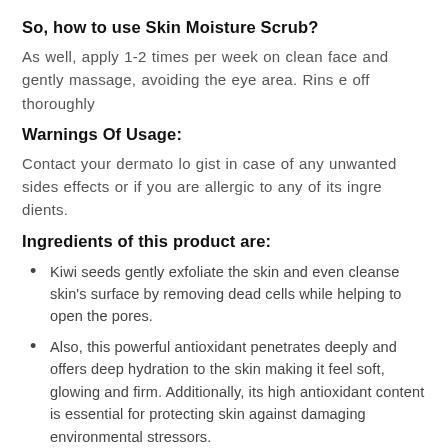So, how to use Skin Moisture Scrub?
As well, apply 1-2 times per week on clean face and gently massage, avoiding the eye area. Rinse off thoroughly
Warnings Of Usage:
Contact your dermatologist in case of any unwanted sides effects or if you are allergic to any of its ingredients.
Ingredients of this product are:
Kiwi seeds gently exfoliate the skin and even cleanse skin's surface by removing dead cells while helping to open the pores.
Also, this powerful antioxidant penetrates deeply and offers deep hydration to the skin making it feel soft, glowing and firm. Additionally, its high antioxidant content is essential for protecting skin against damaging environmental stressors.
ADDITIONAL INFORMATION